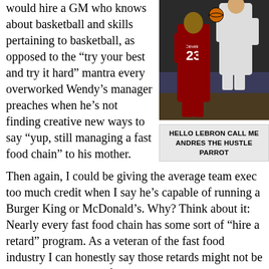would hire a GM who knows about basketball and skills pertaining to basketball, as opposed to the “try your best and try it hard” mantra every overworked Wendy’s manager preaches when he’s not finding creative new ways to say “yup, still managing a fast food chain” to his mother.
[Figure (photo): Basketball action photo showing player in Cleveland Cavaliers jersey number 23 (LeBron James) going up against a player in a white jersey]
HELLO LEBRON CALL ME ANDRES THE HUSTLE PARROT
Then again, I could be giving the average team exec too much credit when I say he’s capable of running a Burger King or McDonald’s. Why? Think about it: Nearly every fast food chain has some sort of “hire a retard” program. As a veteran of the fast food industry I can honestly say those retards might not be able to work worth a fuck, but they sure are enthusiastic about sucking.
What happens when some NBA big shot comes in, then? Sure, the dude running the grill might flip burgers faster than anyone on the shift, but if he doesn’t have enough enthusiasm it doesn’t matter. Customers can taste that shit. They know when a smiling face made